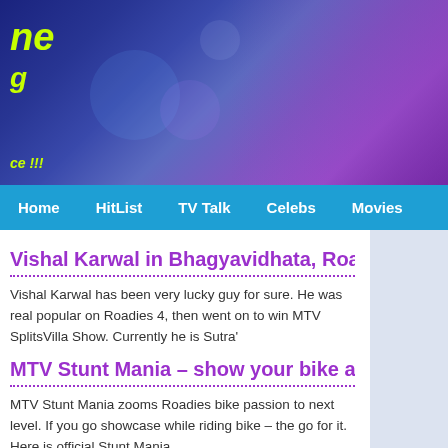[Figure (photo): Website header banner with purple/blue gradient background and a woman's face on the right side. Logo text visible on left in yellow-green.]
Home  HitList  TV Talk  Celebs  Movies
Vishal Karwal in Bhagyavidhata, Roadies to...
Vishal Karwal has been very lucky guy for sure. He was real popular on Roadies 4, then went on to win MTV SplitsVilla Show. Currently he is Sutra'
MTV Stunt Mania – show your bike attitude...
MTV Stunt Mania zooms Roadies bike passion to next level. If you go showcase while riding bike – the go for it. Here is official Stunt Mania
MTV Roadies 6 winner – Nauman Sait, the...